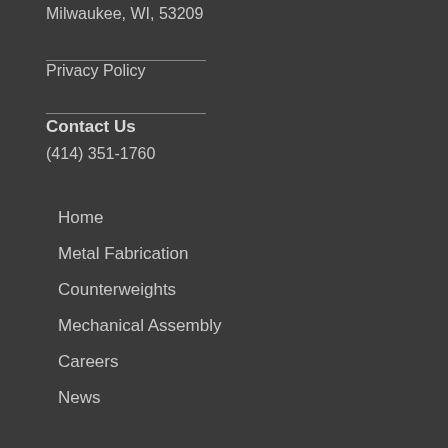Milwaukee, WI, 53209
Privacy Policy
Contact Us
(414) 351-1760
Home
Metal Fabrication
Counterweights
Mechanical Assembly
Careers
News